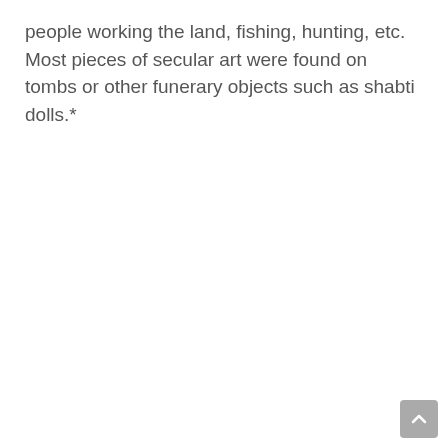people working the land, fishing, hunting, etc. Most pieces of secular art were found on tombs or other funerary objects such as shabti dolls.*